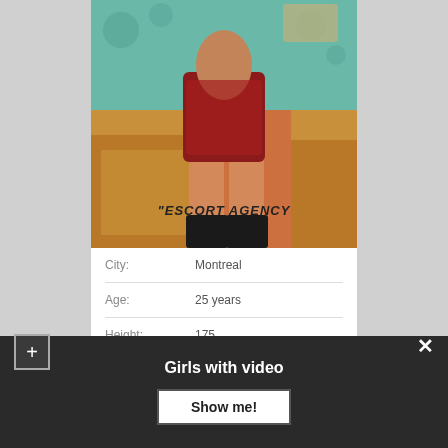[Figure (photo): Person in red/maroon mini dress and black boots standing in front of ornate golden furniture with teal patterned wallpaper. Watermark reads 'ESCORT AGENCY'.]
| City: | Montreal |
| Age: | 25 years |
| Height: | 175 |
| Weight: | 51 |
Girls with video
Show me!